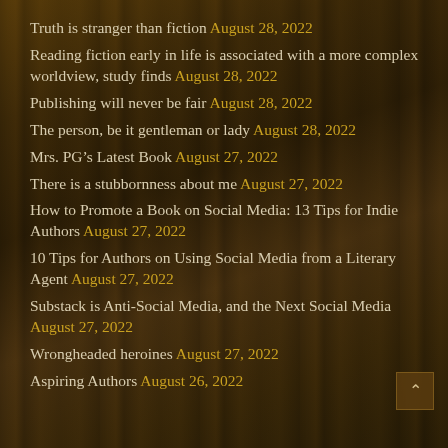Truth is stranger than fiction August 28, 2022
Reading fiction early in life is associated with a more complex worldview, study finds August 28, 2022
Publishing will never be fair August 28, 2022
The person, be it gentleman or lady August 28, 2022
Mrs. PG’s Latest Book August 27, 2022
There is a stubbornness about me August 27, 2022
How to Promote a Book on Social Media: 13 Tips for Indie Authors August 27, 2022
10 Tips for Authors on Using Social Media from a Literary Agent August 27, 2022
Substack is Anti-Social Media, and the Next Social Media August 27, 2022
Wrongheaded heroines August 27, 2022
Aspiring Authors August 26, 2022